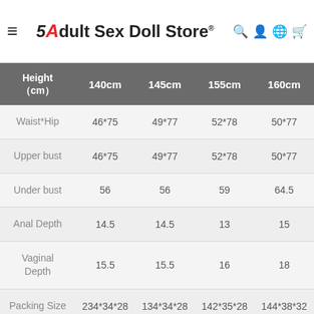Adult Sex Doll Store®
| Height (cm) | 140cm | 145cm | 155cm | 160cm |
| --- | --- | --- | --- | --- |
| Waist*Hip | 46*75 | 49*77 | 52*78 | 50*77 |
| Upper bust | 46*75 | 49*77 | 52*78 | 50*77 |
| Under bust | 56 | 56 | 59 | 64.5 |
| Anal Depth | 14.5 | 14.5 | 13 | 15 |
| Vaginal Depth | 15.5 | 15.5 | 16 | 18 |
| Packing Size | 234*34*28 | 134*34*28 | 142*35*28 | 144*38*32 |
| Net weight | 24 | 25.5 | 29 | 33 |